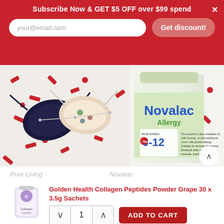Subscribe Now & GET $5 OFF over $99 spend
[Figure (screenshot): E-commerce website hero banner showing face masks with confetti on the left and Novalac Allergy infant formula tin on the right, with a promotional subscribe popup overlay at the top]
Pure Living
Novalac
Golden Health Collagen Peptides Powder Grape 30 x 3.5g Sachets
1
ADD TO CART